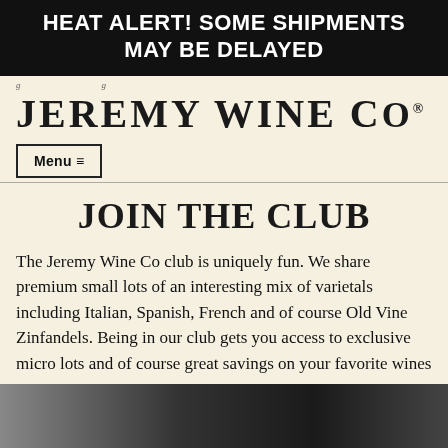HEAT ALERT! SOME SHIPMENTS MAY BE DELAYED
JEREMY WINE CO
Menu ☰
JOIN THE CLUB
The Jeremy Wine Co club is uniquely fun. We share premium small lots of an interesting mix of varietals including Italian, Spanish, French and of course Old Vine Zinfandels. Being in our club gets you access to exclusive micro lots and of course great savings on your favorite wines
[Figure (photo): Bottom portion of a photograph showing a person in a dark shirt, partially visible at the bottom of the page]